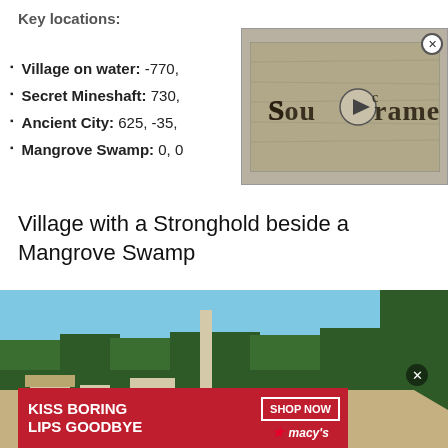Key locations:
Village on water: -770, ...
Secret Mineshaft: 730, ...
Ancient City: 625, -35, ...
Mangrove Swamp: 0, 0, ...
[Figure (screenshot): Soulframe video game advertisement overlay thumbnail with logo text and play button]
Village with a Stronghold beside a Mangrove Swamp
[Figure (screenshot): Minecraft game screenshot showing a village with sandy terrain, trees, and blue sky]
[Figure (advertisement): Macy's advertisement: KISS BORING LIPS GOODBYE with SHOP NOW button]